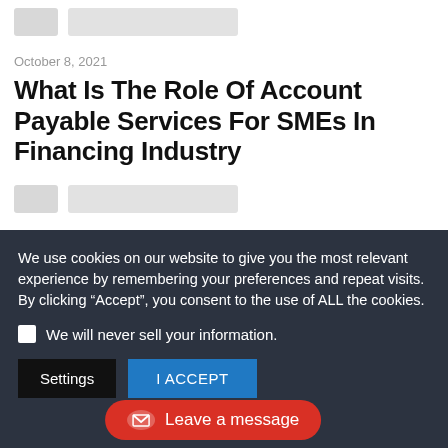[Figure (other): Placeholder avatar and content bar at the top of the page]
October 8, 2021
What Is The Role Of Account Payable Services For SMEs In Financing Industry
[Figure (other): Placeholder avatar and content bar below the title]
We use cookies on our website to give you the most relevant experience by remembering your preferences and repeat visits. By clicking “Accept”, you consent to the use of ALL the cookies.
We will never sell your information.
Settings
I ACCEPT
Leave a message